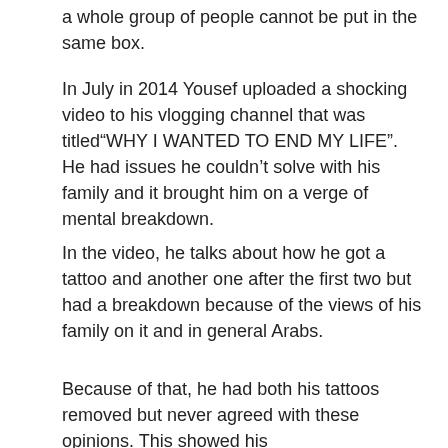a whole group of people cannot be put in the same box.
In July in 2014 Yousef uploaded a shocking video to his vlogging channel that was titled“WHY I WANTED TO END MY LIFE”. He had issues he couldn’t solve with his family and it brought him on a verge of mental breakdown.
In the video, he talks about how he got a tattoo and another one after the first two but had a breakdown because of the views of his family on it and in general Arabs.
Because of that, he had both his tattoos removed but never agreed with these opinions. This showed his